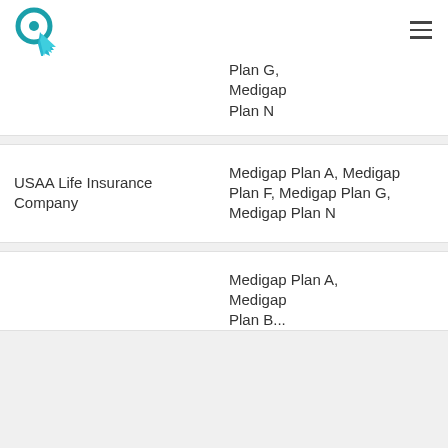Navigation header with logo and hamburger menu
| Company | Plans Available |
| --- | --- |
|  | Plan G, Medigap Plan N |
| USAA Life Insurance Company | Medigap Plan A, Medigap Plan F, Medigap Plan G, Medigap Plan N |
|  | Medigap Plan A, Medigap Plan B... |